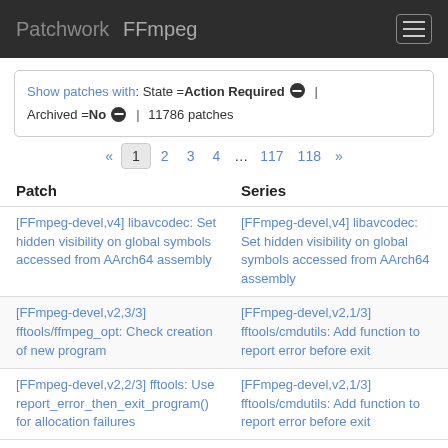Patchwork  FFmpeg
Show patches with: State = Action Required  |  Archived = No  |  11786 patches
« 1 2 3 4 ... 117 118 »
| Patch | Series |
| --- | --- |
| [FFmpeg-devel,v4] libavcodec: Set hidden visibility on global symbols accessed from AArch64 assembly | [FFmpeg-devel,v4] libavcodec: Set hidden visibility on global symbols accessed from AArch64 assembly |
| [FFmpeg-devel,v2,3/3] fftools/ffmpeg_opt: Check creation of new program | [FFmpeg-devel,v2,1/3] fftools/cmdutils: Add function to report error before exit |
| [FFmpeg-devel,v2,2/3] fftools: Use report_error_then_exit_program() for allocation failures | [FFmpeg-devel,v2,1/3] fftools/cmdutils: Add function to report error before exit |